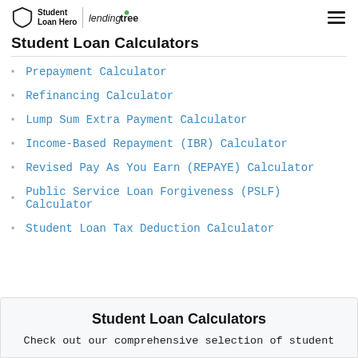Student Loan Hero | lendingtree
Student Loan Calculators
Prepayment Calculator
Refinancing Calculator
Lump Sum Extra Payment Calculator
Income-Based Repayment (IBR) Calculator
Revised Pay As You Earn (REPAYE) Calculator
Public Service Loan Forgiveness (PSLF) Calculator
Student Loan Tax Deduction Calculator
Student Loan Calculators
Check out our comprehensive selection of student